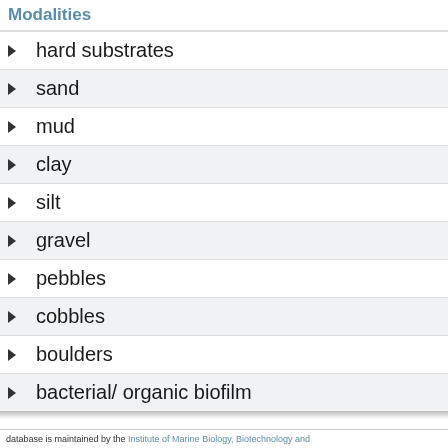Modalities
hard substrates
sand
mud
clay
silt
gravel
pebbles
cobbles
boulders
bacterial/ organic biofilm
database is maintained by the Institute of Marine Biology, Biotechnology and